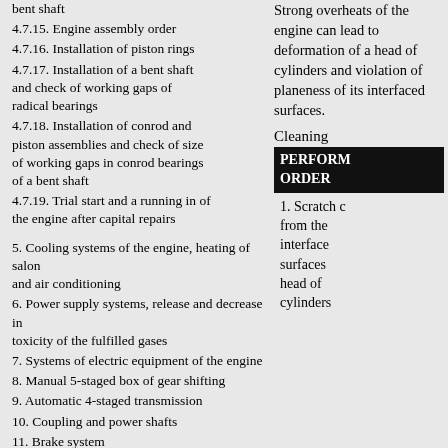bent shaft
4.7.15. Engine assembly order
4.7.16. Installation of piston rings
4.7.17. Installation of a bent shaft and check of working gaps of radical bearings
4.7.18. Installation of conrod and piston assemblies and check of size of working gaps in conrod bearings of a bent shaft
4.7.19. Trial start and a running in of the engine after capital repairs
5. Cooling systems of the engine, heating of salon and air conditioning
6. Power supply systems, release and decrease in toxicity of the fulfilled gases
7. Systems of electric equipment of the engine
8. Manual 5-staged box of gear shifting
9. Automatic 4-staged transmission
10. Coupling and power shafts
11. Brake system
12. Suspension bracket and steering
13. Body
14. Onboard electric equipment
Strong overheats of the engine can lead to deformation of a head of cylinders and violation of planeness of its interfaced surfaces.
Cleaning
PERFORMANCE ORDER
1. Scratch c... from the interfaced surfaces head of cylinders...